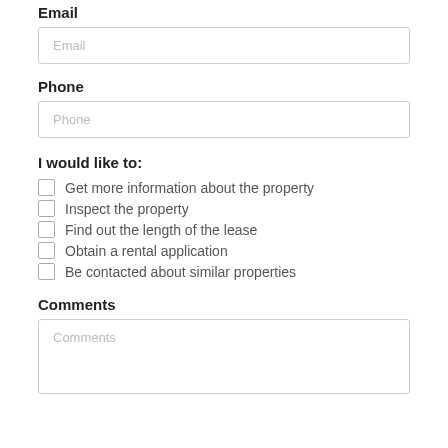Email
Email (input field placeholder)
Phone
Phone (input field placeholder)
I would like to:
Get more information about the property
Inspect the property
Find out the length of the lease
Obtain a rental application
Be contacted about similar properties
Comments
Comments (textarea placeholder)